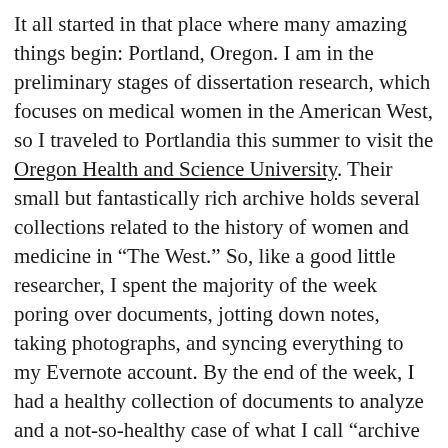It all started in that place where many amazing things begin: Portland, Oregon. I am in the preliminary stages of dissertation research, which focuses on medical women in the American West, so I traveled to Portlandia this summer to visit the Oregon Health and Science University. Their small but fantastically rich archive holds several collections related to the history of women and medicine in “The West.” So, like a good little researcher, I spent the majority of the week poring over documents, jotting down notes, taking photographs, and syncing everything to my Evernote account. By the end of the week, I had a healthy collection of documents to analyze and a not-so-healthy case of what I call “archive nose” (dust is not good for the sinuses). I’m also pretty sure I gained a few pounds from visiting all of those delicious food trucks Portland is so famous for. All in all, I was a